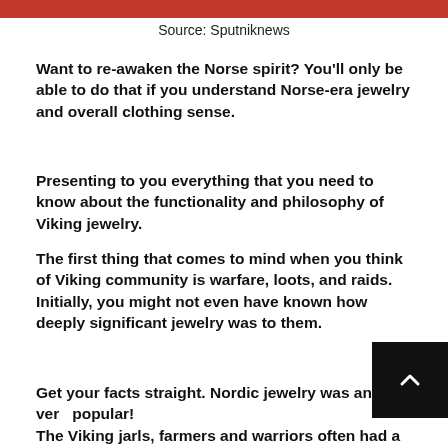[Figure (photo): Top portion of an image with red/orange background, partially cropped]
Source: Sputniknews
Want to re-awaken the Norse spirit? You'll only be able to do that if you understand Norse-era jewelry and overall clothing sense.
Presenting to you everything that you need to know about the functionality and philosophy of Viking jewelry.
The first thing that comes to mind when you think of Viking community is warfare, loots, and raids. Initially, you might not even have known how deeply significant jewelry was to them.
Get your facts straight. Nordic jewelry was and is very popular!
The Viking jarls, farmers and warriors often had a very dark